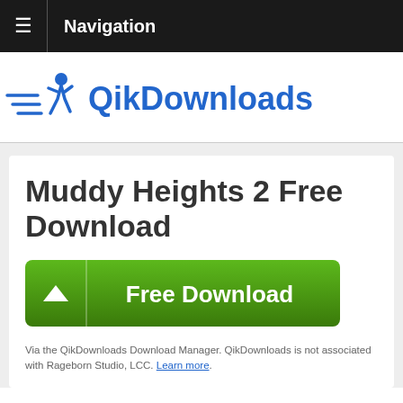Navigation
[Figure (logo): QikDownloads logo: running figure with speed lines and blue text 'QikDownloads']
Muddy Heights 2 Free Download
[Figure (other): Green Free Download button with downward arrow chevron]
Via the QikDownloads Download Manager. QikDownloads is not associated with Rageborn Studio, LCC. Learn more.